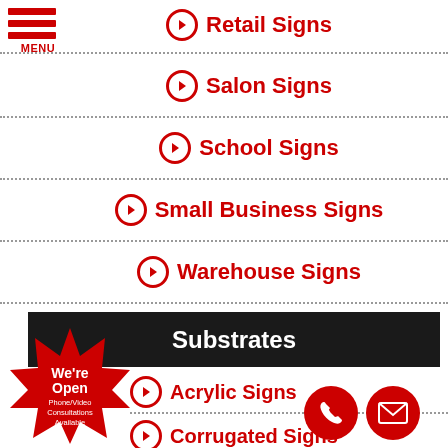[Figure (logo): Red hamburger menu icon with three horizontal bars and MENU text below]
Retail Signs
Salon Signs
School Signs
Small Business Signs
Warehouse Signs
Substrates
Acrylic Signs
Corrugated Signs
[Figure (infographic): Red starburst badge saying We're Open, Phone/Video Consultations Available]
[Figure (infographic): Red phone circle icon]
[Figure (infographic): Red mail/envelope circle icon]